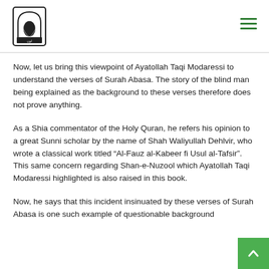[Figure (logo): Organization logo with African continent silhouette and Arabic text, black and white]
Now, let us bring this viewpoint of Ayatollah Taqi Modaressi to understand the verses of Surah Abasa. The story of the blind man being explained as the background to these verses therefore does not prove anything.
As a Shia commentator of the Holy Quran, he refers his opinion to a great Sunni scholar by the name of Shah Waliyullah Dehlvir, who wrote a classical work titled “Al-Fauz al-Kabeer fi Usul al-Tafsir”. This same concern regarding Shan-e-Nuzool which Ayatollah Taqi Modaressi highlighted is also raised in this book.
Now, he says that this incident insinuated by these verses of Surah Abasa is one such example of questionable background